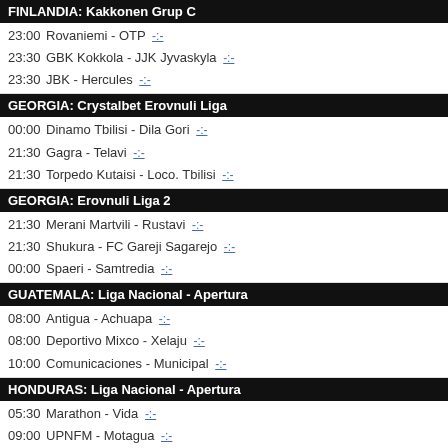FINLANDIA: Kakkonen Grup C
23:00  Rovaniemi - OTP -:-
23:30  GBK Kokkola - JJK Jyvaskyla -:-
23:30  JBK - Hercules -:-
GEORGIA: Crystalbet Erovnuli Liga
00:00  Dinamo Tbilisi - Dila Gori -:-
21:30  Gagra - Telavi -:-
21:30  Torpedo Kutaisi - Loco. Tbilisi -:-
GEORGIA: Erovnuli Liga 2
21:30  Merani Martvili - Rustavi -:-
21:30  Shukura - FC Gareji Sagarejo -:-
00:00  Spaeri - Samtredia -:-
GUATEMALA: Liga Nacional - Apertura
08:00  Antigua - Achuapa -:-
08:00  Deportivo Mixco - Xelaju -:-
10:00  Comunicaciones - Municipal -:-
HONDURAS: Liga Nacional - Apertura
05:30  Marathon - Vida -:-
09:00  UPNFM - Motagua -:-
09:30  Victoria - Honduras Progreso -:-
HUNGARIA: OTP Bank Liga
23:00  Ditunda MOL Fehervar - Ujpest -:-
23:00  Ditunda Paks - Ferencvaros -:-
23:55  Zalaegerszegi - Kisvarda -:-
HUNGARIA: Merkantil Bank Liga